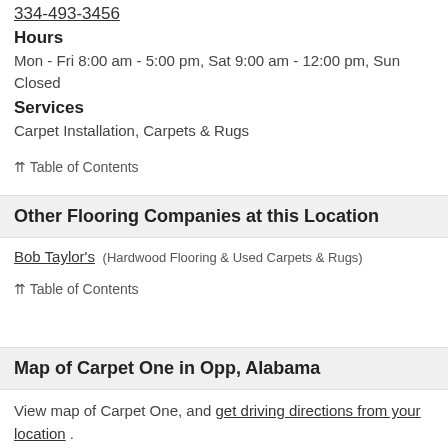334-493-3456
Hours
Mon - Fri 8:00 am - 5:00 pm, Sat 9:00 am - 12:00 pm, Sun Closed
Services
Carpet Installation, Carpets & Rugs
⇈ Table of Contents
Other Flooring Companies at this Location
Bob Taylor's (Hardwood Flooring & Used Carpets & Rugs)
⇈ Table of Contents
Map of Carpet One in Opp, Alabama
View map of Carpet One, and get driving directions from your location .